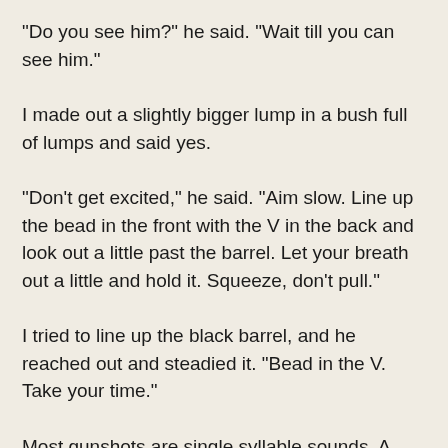"Do you see him?" he said. "Wait till you can see him."
I made out a slightly bigger lump in a bush full of lumps and said yes.
"Don't get excited," he said. "Aim slow. Line up the bead in the front with the V in the back and look out a little past the barrel. Let your breath out a little and hold it. Squeeze, don't pull."
I tried to line up the black barrel, and he reached out and steadied it. "Bead in the V. Take your time."
Most gunshots are single syllable sounds. A Berretta automatic pistol, Army issue, makes a single concussive "Pop!" when it goes off and your hand jumps no matter how hard you hold it. A twenty two doesn't jar your hand at all and the gunshot is a two syllable sound.